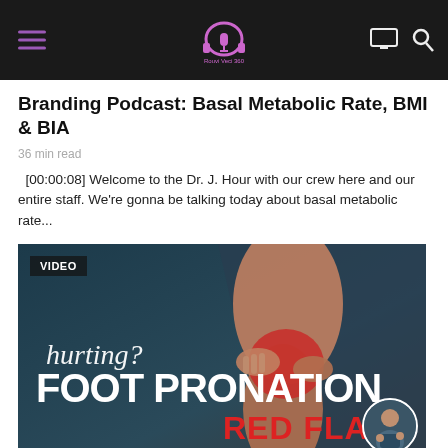RouviVeci 360 — navigation header with logo, hamburger menu, monitor icon, search icon
Branding Podcast: Basal Metabolic Rate, BMI & BIA
36 min read
[00:00:08] Welcome to the Dr. J. Hour with our crew here and our entire staff. We're gonna be talking today about basal metabolic rate...
[Figure (screenshot): Video thumbnail with dark blue/grey background showing a person grabbing their knee/leg with red highlight, text overlay: hurting? FOOT PRONATION RED FLAGS, with VIDEO label badge and circular avatar of a person in bottom right corner]